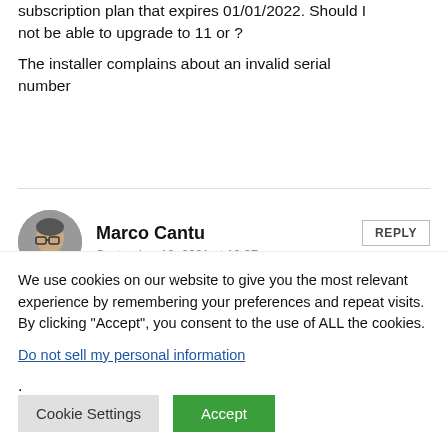subscription plan that expires 01/01/2022. Should I not be able to upgrade to 11 or ?
The installer complains about an invalid serial number
Marco Cantu
September 10, 2021 at 10:37 am
There is a hiccup with license refresh and update. At
We use cookies on our website to give you the most relevant experience by remembering your preferences and repeat visits. By clicking “Accept”, you consent to the use of ALL the cookies.
Do not sell my personal information.
Cookie Settings
Accept